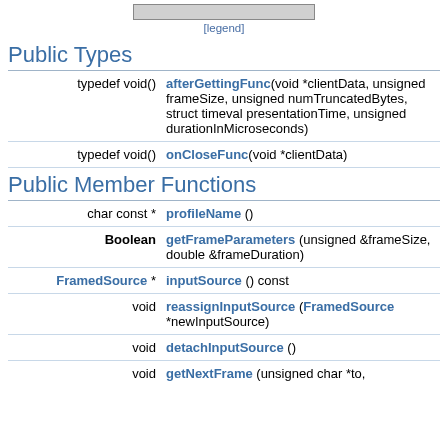[Figure (other): Top partial diagram/image placeholder (cropped)]
[legend]
Public Types
|  |  |
| --- | --- |
| typedef void() | afterGettingFunc(void *clientData, unsigned frameSize, unsigned numTruncatedBytes, struct timeval presentationTime, unsigned durationInMicroseconds) |
| typedef void() | onCloseFunc(void *clientData) |
Public Member Functions
|  |  |
| --- | --- |
| char const * | profileName () |
| Boolean | getFrameParameters (unsigned &frameSize, double &frameDuration) |
| FramedSource * | inputSource () const |
| void | reassignInputSource (FramedSource *newInputSource) |
| void | detachInputSource () |
| void | getNextFrame (unsigned char *to, |